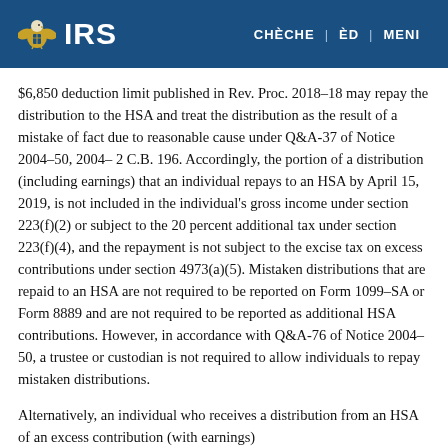IRS | CHÈCHE | ÈD | MENI
$6,850 deduction limit published in Rev. Proc. 2018–18 may repay the distribution to the HSA and treat the distribution as the result of a mistake of fact due to reasonable cause under Q&A-37 of Notice 2004–50, 2004–2 C.B. 196. Accordingly, the portion of a distribution (including earnings) that an individual repays to an HSA by April 15, 2019, is not included in the individual's gross income under section 223(f)(2) or subject to the 20 percent additional tax under section 223(f)(4), and the repayment is not subject to the excise tax on excess contributions under section 4973(a)(5). Mistaken distributions that are repaid to an HSA are not required to be reported on Form 1099–SA or Form 8889 and are not required to be reported as additional HSA contributions. However, in accordance with Q&A-76 of Notice 2004–50, a trustee or custodian is not required to allow individuals to repay mistaken distributions.
Alternatively, an individual who receives a distribution from an HSA of an excess contribution (with earnings)